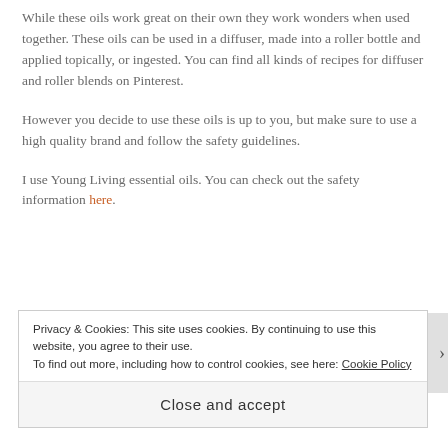While these oils work great on their own they work wonders when used together. These oils can be used in a diffuser, made into a roller bottle and applied topically, or ingested. You can find all kinds of recipes for diffuser and roller blends on Pinterest.
However you decide to use these oils is up to you, but make sure to use a high quality brand and follow the safety guidelines.
I use Young Living essential oils. You can check out the safety information here.
Privacy & Cookies: This site uses cookies. By continuing to use this website, you agree to their use.
To find out more, including how to control cookies, see here: Cookie Policy
Close and accept